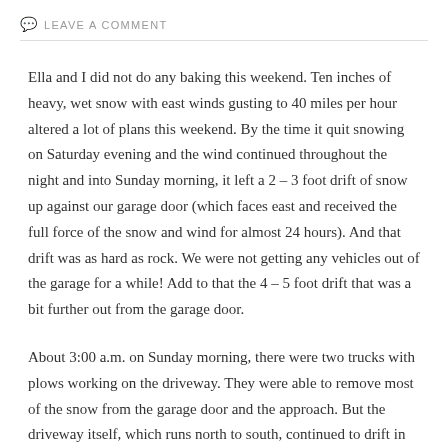LEAVE A COMMENT
Ella and I did not do any baking this weekend.  Ten inches of heavy, wet snow with east winds gusting to 40 miles per hour altered a lot of plans this weekend.  By the time it quit snowing on Saturday evening and the wind continued throughout the night and into Sunday morning, it left a 2 – 3 foot drift of snow up against our garage door (which faces east and received the full force of the snow and wind for almost 24 hours).  And that drift was as hard as rock.  We were not getting any vehicles out of the garage for a while!  Add to that the 4 – 5 foot drift that was a bit further out from the garage door.
About 3:00 a.m. on Sunday morning, there were two trucks with plows working on the driveway.  They were able to remove most of the snow from the garage door and the approach.  But the driveway itself, which runs north to south, continued to drift in